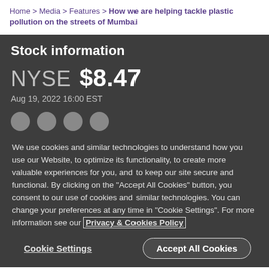Home > Media > Features > How we are helping tackle plastic pollution on the streets of Mumbai
Stock information
NYSE  $8.47
Aug 19, 2022 16:00 EST
We use cookies and similar technologies to understand how you use our Website, to optimize its functionality, to create more valuable experiences for you, and to keep our site secure and functional. By clicking on the "Accept All Cookies" button, you consent to our use of cookies and similar technologies. You can change your preferences at any time in "Cookie Settings". For more information see our Privacy & Cookies Policy
Cookie Settings   Accept All Cookies